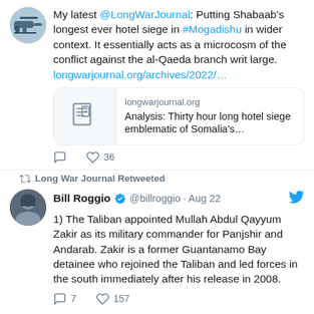My latest @LongWarJournal: Putting Shabaab's longest ever hotel siege in #Mogadishu in wider context. It essentially acts as a microcosm of the conflict against the al-Qaeda branch writ large. longwarjournal.org/archives/2022/...
[Figure (screenshot): Link preview card for longwarjournal.org article: Analysis: Thirty hour long hotel siege emblematic of Somalia's...]
36 likes
Long War Journal Retweeted
Bill Roggio @billroggio · Aug 22
1) The Taliban appointed Mullah Abdul Qayyum Zakir as its military commander for Panjshir and Andarab. Zakir is a former Guantanamo Bay detainee who rejoined the Taliban and led forces in the south immediately after his release in 2008.
7 replies, 157 likes